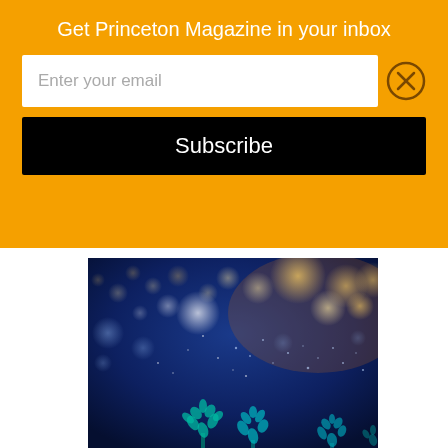Get Princeton Magazine in your inbox
Enter your email
Subscribe
[Figure (photo): Bokeh night scene with blue background, warm golden glowing lights/orbs, and teal decorative leaf/tree silhouettes at the bottom — a festive holiday atmosphere.]